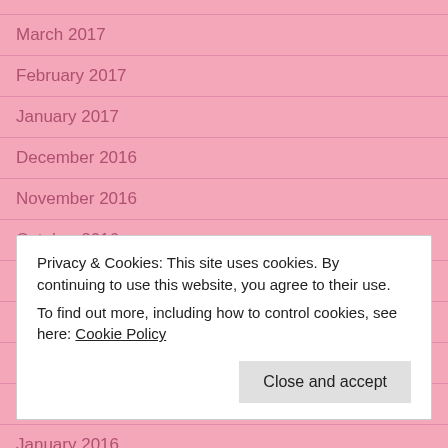March 2017
February 2017
January 2017
December 2016
November 2016
October 2016
September 2016
August 2016
July 2016
June 2016
Privacy & Cookies: This site uses cookies. By continuing to use this website, you agree to their use.
To find out more, including how to control cookies, see here: Cookie Policy
January 2016